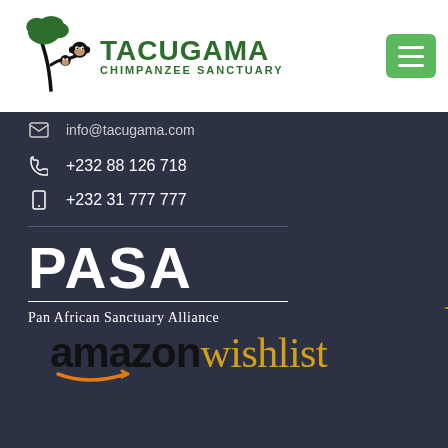[Figure (logo): Tacugama Chimpanzee Sanctuary logo with tree and chimpanzee icon, green text reading TACUGAMA CHIMPANZEE SANCTUARY, and green hamburger menu button in top right]
info@tacugama.com
+232 88 126 718
+232 31 777 777
[Figure (logo): PASA logo - Pan African Sanctuary Alliance - white bold lettering on dark background with horizontal rules above and below]
[Figure (logo): Amazon Wishlist logo with amazon text in black and wishlist in gold/yellow with sparkle stars decorations]